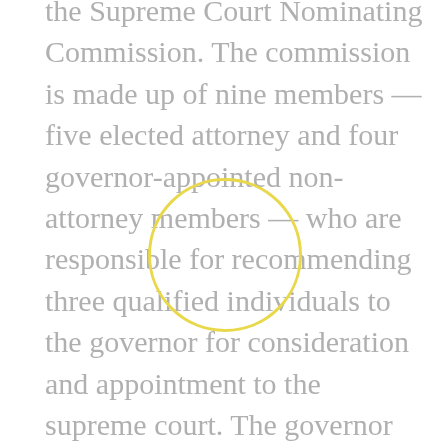the Supreme Court Nominating Commission. The commission is made up of nine members — five elected attorney and four governor-appointed non-attorney members — who are responsible for recommending three qualified individuals to the governor for consideration and appointment to the supreme court. The governor interviews the three nominees and appoints one to the bench. The newly appointed justice stands for a retention vote on the first general